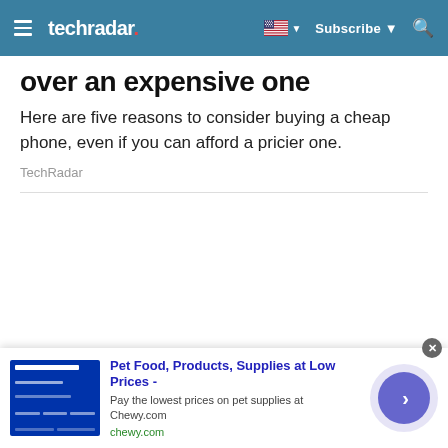techradar
over an expensive one
Here are five reasons to consider buying a cheap phone, even if you can afford a pricier one.
TechRadar
[Figure (screenshot): Advertisement banner for Chewy.com: Pet Food, Products, Supplies at Low Prices - Pay the lowest prices on pet supplies at Chewy.com]